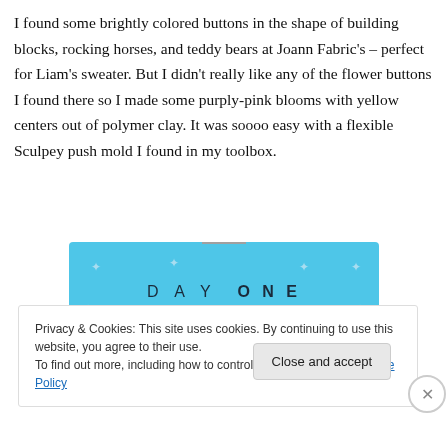I found some brightly colored buttons in the shape of building blocks, rocking horses, and teddy bears at Joann Fabric's – perfect for Liam's sweater. But I didn't really like any of the flower buttons I found there so I made some purply-pink blooms with yellow centers out of polymer clay. It was soooo easy with a flexible Sculpey push mold I found in my toolbox.
[Figure (screenshot): Advertisement banner for 'Day One' journaling app on a bright blue background with sparkle/star decorations. Text reads 'DAY ONE' and 'The only journaling app you'll ever need.']
Privacy & Cookies: This site uses cookies. By continuing to use this website, you agree to their use.
To find out more, including how to control cookies, see here: Cookie Policy